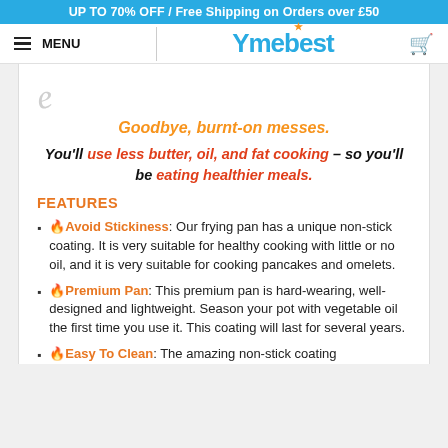UP TO 70% OFF / Free Shipping on Orders over £50
MENU | YmeBest
[Figure (illustration): Partial product image, stylized swirl/pan graphic]
Goodbye, burnt-on messes.
You'll use less butter, oil, and fat cooking – so you'll be eating healthier meals.
FEATURES
🔥Avoid Stickiness: Our frying pan has a unique non-stick coating. It is very suitable for healthy cooking with little or no oil, and it is very suitable for cooking pancakes and omelets.
🔥Premium Pan: This premium pan is hard-wearing, well-designed and lightweight. Season your pot with vegetable oil the first time you use it. This coating will last for several years.
🔥Easy To Clean: The amazing non-stick coating